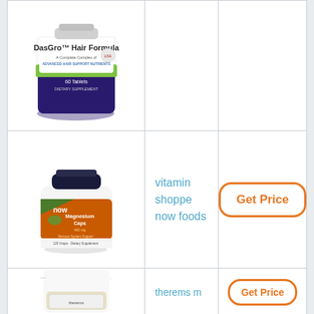[Figure (photo): DasGro Hair Formula supplement bottle, 60 tablets, dark blue container with green and white label]
[Figure (photo): Now Foods Magnesium Caps supplement bottle, orange and green label, white container with dark cap]
vitamin shoppe
now foods
[Figure (other): Get Price button with orange border]
[Figure (photo): Therems magnesium supplement bottle, white container with label, partially visible]
therems m
[Figure (other): Get Price button with orange border, partially visible]